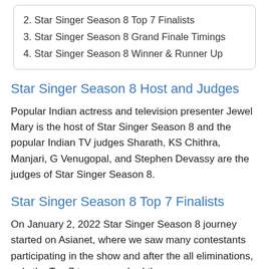2. Star Singer Season 8 Top 7 Finalists
3. Star Singer Season 8  Grand Finale Timings
4. Star Singer Season 8 Winner & Runner Up
Star Singer Season 8 Host and Judges
Popular Indian actress and television presenter Jewel Mary is the host of Star Singer Season 8 and the popular Indian TV judges Sharath, KS Chithra, Manjari, G Venugopal, and Stephen Devassy are the judges of Star Singer Season 8.
Star Singer Season 8 Top 7 Finalists
On January 2, 2022 Star Singer Season 8  journey started on Asianet, where we saw many contestants participating in the show and after the all eliminations, only the Top 7 teams reached the